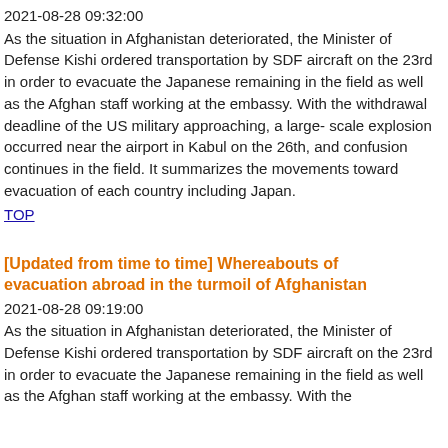2021-08-28 09:32:00
As the situation in Afghanistan deteriorated, the Minister of Defense Kishi ordered transportation by SDF aircraft on the 23rd in order to evacuate the Japanese remaining in the field as well as the Afghan staff working at the embassy. With the withdrawal deadline of the US military approaching, a large-scale explosion occurred near the airport in Kabul on the 26th, and confusion continues in the field. It summarizes the movements toward evacuation of each country including Japan.
TOP
[Updated from time to time] Whereabouts of evacuation abroad in the turmoil of Afghanistan
2021-08-28 09:19:00
As the situation in Afghanistan deteriorated, the Minister of Defense Kishi ordered transportation by SDF aircraft on the 23rd in order to evacuate the Japanese remaining in the field as well as the Afghan staff working at the embassy. With the